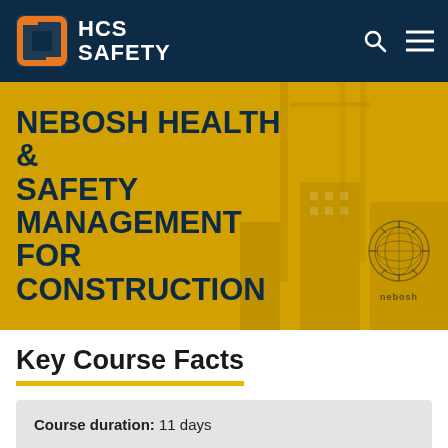HCS SAFETY
NEBOSH HEALTH & SAFETY MANAGEMENT FOR CONSTRUCTION
Key Course Facts
Course duration: 11 days